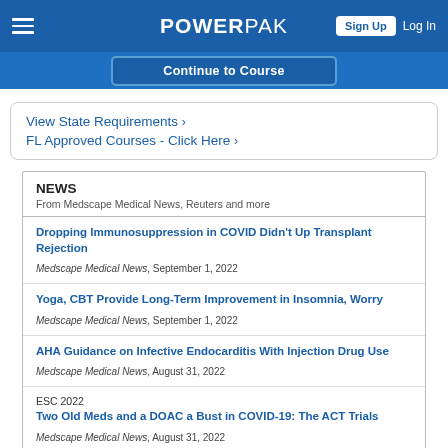PowerPak — Sign Up / Log In
Continue to Course
View State Requirements >
FL Approved Courses - Click Here >
NEWS
From Medscape Medical News, Reuters and more
Dropping Immunosuppression in COVID Didn't Up Transplant Rejection
Medscape Medical News, September 1, 2022
Yoga, CBT Provide Long-Term Improvement in Insomnia, Worry
Medscape Medical News, September 1, 2022
AHA Guidance on Infective Endocarditis With Injection Drug Use
Medscape Medical News, August 31, 2022
ESC 2022
Two Old Meds and a DOAC a Bust in COVID-19: The ACT Trials
Medscape Medical News, August 31, 2022
ESC 2022
ARBs, Beta Blockers Inhibit Marfan Progression